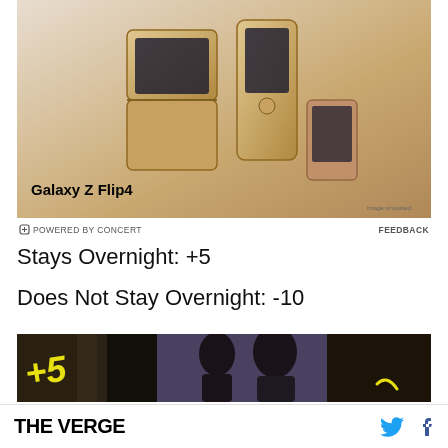[Figure (photo): Samsung Galaxy Z Flip4 advertisement showing foldable phones in gold/beige color]
POWERED BY CONCERT   FEEDBACK
Stays Overnight: +5
Does Not Stay Overnight: -10
[Figure (screenshot): Video still of two people in dim setting with yellow +5 annotation overlay]
THE VERGE